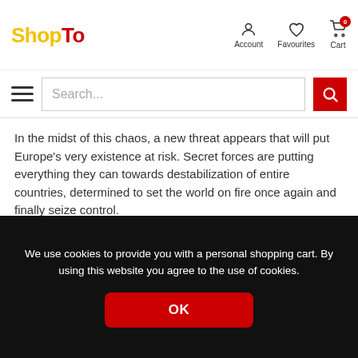ShopTo — Account, Favourites, Cart (0)
In the midst of this chaos, a new threat appears that will put Europe's very existence at risk. Secret forces are putting everything they can towards destabilization of entire countries, determined to set the world on fire once again and finally seize control.
Iron Harvest – Complete Edition Content
Includes 2 DLC expansions:
Base Game
Rusviet Revolution (3,99)
We use cookies to provide you with a personal shopping cart. By using this website you agree to the use of cookies.